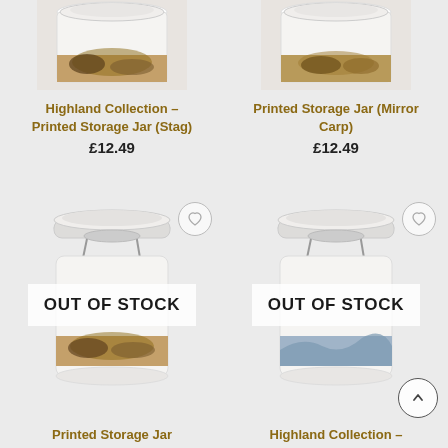[Figure (photo): Top portion of a printed storage jar with stag artwork, cropped at top]
[Figure (photo): Top portion of a printed storage jar with mirror carp artwork, cropped at top]
Highland Collection – Printed Storage Jar (Stag)
£12.49
Printed Storage Jar (Mirror Carp)
£12.49
[Figure (photo): Printed storage jar with lid open, stag artwork, overlaid with OUT OF STOCK banner]
[Figure (photo): Printed storage jar with lid open, mountain/highland artwork, overlaid with OUT OF STOCK banner]
Printed Storage Jar
Highland Collection –